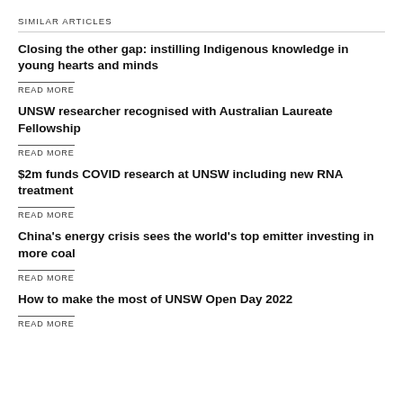SIMILAR ARTICLES
Closing the other gap: instilling Indigenous knowledge in young hearts and minds
READ MORE
UNSW researcher recognised with Australian Laureate Fellowship
READ MORE
$2m funds COVID research at UNSW including new RNA treatment
READ MORE
China's energy crisis sees the world's top emitter investing in more coal
READ MORE
How to make the most of UNSW Open Day 2022
READ MORE